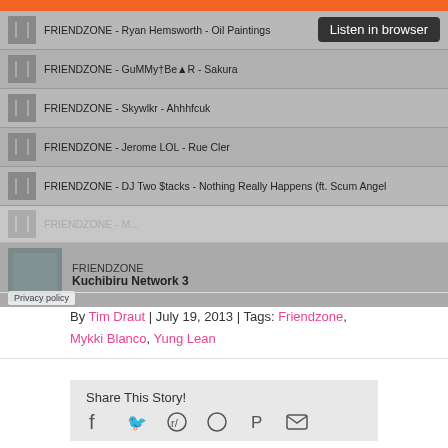[Figure (screenshot): Music player widget showing FRIENDZONE playlist with tracks including Ryan Hemsworth - Oil Paintings, GuMMy†Be▲R - Sakura, Skywlkr - Ahhhfcuk, Jerome LOL - Rue Cler, DJ Two $tacks - Nothing Really Happens (ft. Scum Angel), and now playing Kuchibiru Network 3. A tooltip reads 'Listen in browser'.]
By Tim Draut | July 19, 2013 | Tags: Friendzone, Mykki Blanco, Yung Lean
Share This Story!